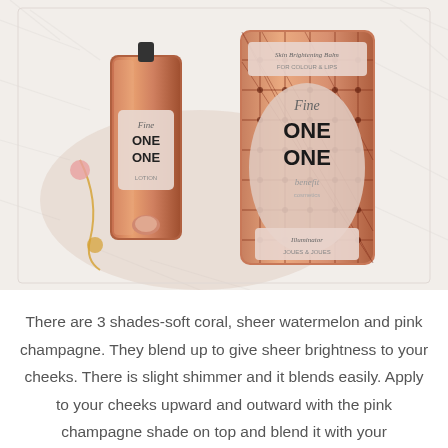[Figure (photo): Two Benefit Fine One One cosmetic products (a lipstick/gloss and a blush compact) with rose-gold copper packaging featuring plaid/argyle pattern, placed on a white furry surface with gold chain accessories]
There are 3 shades-soft coral, sheer watermelon and pink champagne. They blend up to give sheer brightness to your cheeks. There is slight shimmer and it blends easily. Apply to your cheeks upward and outward with the pink champagne shade on top and blend it with your